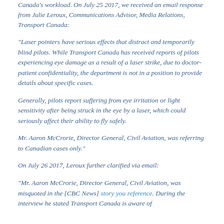Canada's workload. On July 25 2017, we received an email response from Julie Leroux, Communications Advisor, Media Relations, Transport Canada:
“Laser pointers have serious effects that distract and temporarily blind pilots. While Transport Canada has received reports of pilots experiencing eye damage as a result of a laser strike, due to doctor-patient confidentiality, the department is not in a position to provide details about specific cases.
Generally, pilots report suffering from eye irritation or light sensitivity after being struck in the eye by a laser, which could seriously affect their ability to fly safely.
Mr. Aaron McCrorie, Director General, Civil Aviation, was referring to Canadian cases only.”
On July 26 2017, Leroux further clarified via email:
"Mr. Aaron McCrorie, Director General, Civil Aviation, was misquoted in the [CBC News] story you reference. During the interview he stated Transport Canada is aware of